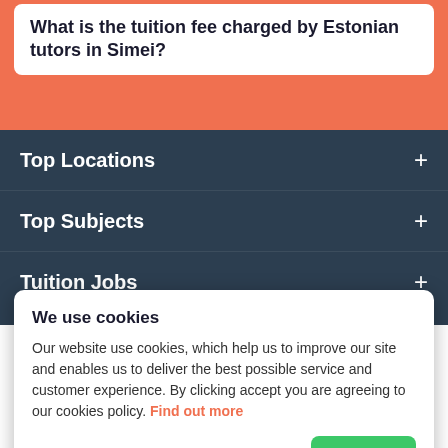What is the tuition fee charged by Estonian tutors in Simei?
Top Locations
Top Subjects
Tuition Jobs
We use cookies
Our website use cookies, which help us to improve our site and enables us to deliver the best possible service and customer experience. By clicking accept you are agreeing to our cookies policy. Find out more